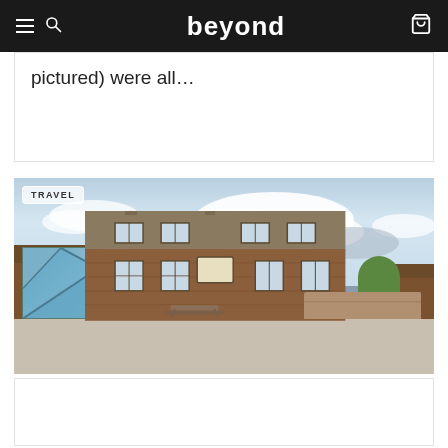beyond
pictured) were all…
[Figure (photo): Exterior photograph of a traditional British stone/brick pub building with grey tile roof, modern glass extension on the left side, multiple sash windows, pub signage, set against a partly cloudy sky with a courtyard/car park in front. A 'TRAVEL' badge overlay appears in the upper left of the image.]